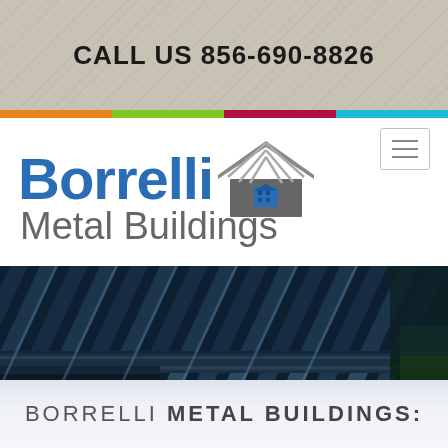CALL US 856-690-8826
[Figure (logo): Borrelli Metal Buildings logo with stylized house/roof graphic in blue and gray]
[Figure (photo): Close-up photo of dark blue metal building roof panels and structural steel beams]
BORRELLI METAL BUILDINGS: